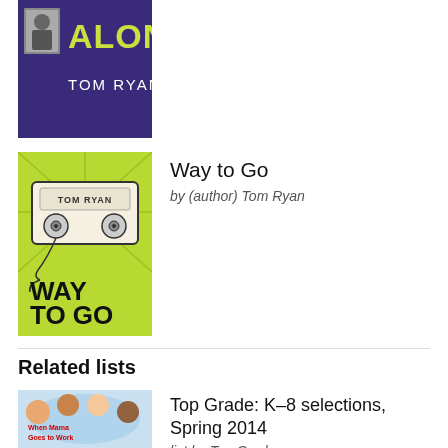[Figure (photo): Partial book cover of 'Tag Along' by Tom Ryan, showing purple background with white text 'ALONG' and 'TOM RYAN', and a small photo of a person]
[Figure (photo): Book cover of 'Way to Go' by Tom Ryan, showing a lime green background with a cassette tape illustration and bold text 'WAY TO GO' in the lower portion]
Way to Go
by (author) Tom Ryan
Related lists
[Figure (photo): Book cover of 'When Mama Goes to Work', showing children's faces in a circle on a light blue background with red and yellow text]
Top Grade: K–8 selections, Spring 2014
list by Top Grade